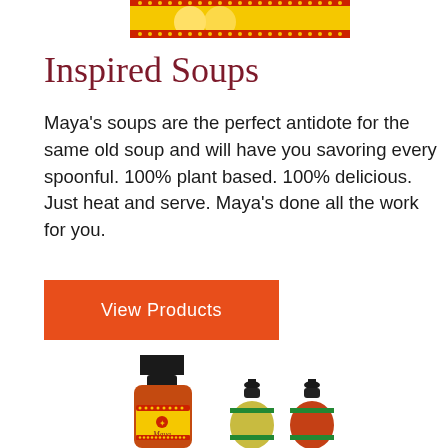[Figure (photo): Partial image of a soup product box at the top of the page]
Inspired Soups
Maya's soups are the perfect antidote for the same old soup and will have you savoring every spoonful. 100% plant based. 100% delicious. Just heat and serve. Maya's done all the work for you.
[Figure (other): Orange/red button with white text reading 'View Products']
[Figure (photo): Partial image of Maya's brand sauce bottles and condiment bottles at the bottom of the page]